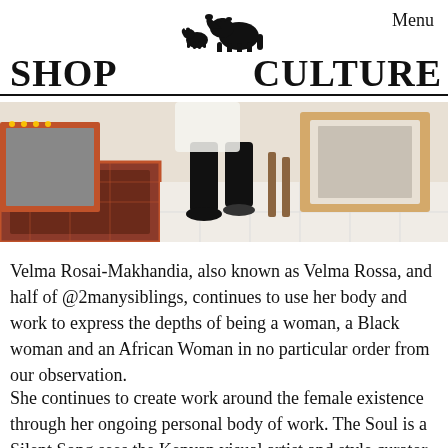Menu
SHOP   CULTURE
[Figure (photo): A person wearing black clothing and sandals standing among framed artwork and a patterned rug in an art studio or gallery setting.]
Velma Rosai-Makhandia, also known as Velma Rossa, and half of @2manysiblings, continues to use her body and work to express the depths of being a woman, a Black woman and an African Woman in no particular order from our observation.
She continues to create work around the female existence through her ongoing personal body of work. The Soul is a Silent Song sees the Kenyan visual artist and style curator explore abstract